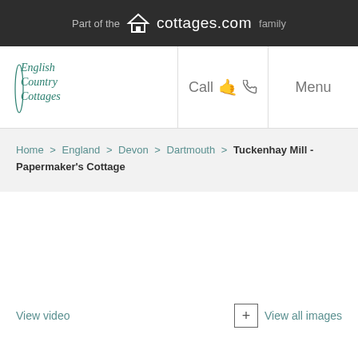Part of the cottages.com family
[Figure (logo): English Country Cottages logo in teal italic script]
Call  Menu
Home > England > Devon > Dartmouth > Tuckenhay Mill - Papermaker's Cottage
[Figure (photo): Large property photo area (blank/loading)]
View video
+ View all images